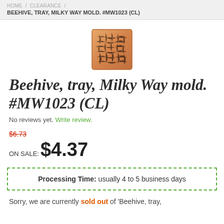HOME / CLEARANCE / BEEHIVE, TRAY, MILKY WAY MOLD. #MW1023 (CL)
[Figure (photo): Product image of a beehive tray mold, square-shaped with orange/terracotta color and textured beehive pattern surface.]
Beehive, tray, Milky Way mold. #MW1023 (CL)
No reviews yet. Write review.
$6.73 ON SALE: $4.37
Processing Time: usually 4 to 5 business days
Sorry, we are currently sold out of 'Beehive, tray,